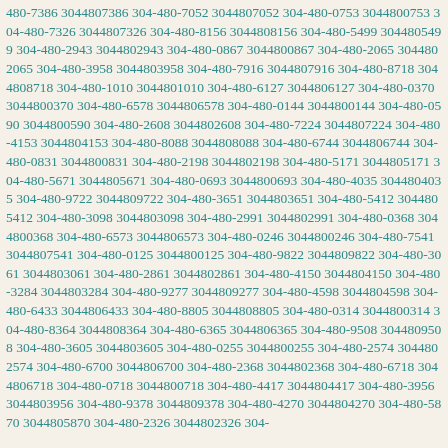480-7386 3044807386 304-480-7052 3044807052 304-480-0753 3044800753 304-480-7326 3044807326 304-480-8156 3044808156 304-480-5499 3044805499 304-480-2943 3044802943 304-480-0867 3044800867 304-480-2065 3044802065 304-480-3958 3044803958 304-480-7916 3044807916 304-480-8718 3044808718 304-480-1010 3044801010 304-480-6127 3044806127 304-480-0370 3044800370 304-480-6578 3044806578 304-480-0144 3044800144 304-480-0590 3044800590 304-480-2608 3044802608 304-480-7224 3044807224 304-480-4153 3044804153 304-480-8088 3044808088 304-480-6744 3044806744 304-480-0831 3044800831 304-480-2198 3044802198 304-480-5171 3044805171 304-480-5671 3044805671 304-480-0693 3044800693 304-480-4035 3044804035 304-480-9722 3044809722 304-480-3651 3044803651 304-480-5412 3044805412 304-480-3098 3044803098 304-480-2991 3044802991 304-480-0368 3044800368 304-480-6573 3044806573 304-480-0246 3044800246 304-480-7541 3044807541 304-480-0125 3044800125 304-480-9822 3044809822 304-480-3061 3044803061 304-480-2861 3044802861 304-480-4150 3044804150 304-480-3284 3044803284 304-480-9277 3044809277 304-480-4598 3044804598 304-480-6433 3044806433 304-480-8805 3044808805 304-480-0314 3044800314 304-480-8364 3044808364 304-480-6365 3044806365 304-480-9508 3044809508 304-480-3605 3044803605 304-480-0255 3044800255 304-480-2574 3044802574 304-480-6700 3044806700 304-480-2368 3044802368 304-480-6718 3044806718 304-480-0718 3044800718 304-480-4417 3044804417 304-480-3956 3044803956 304-480-9378 3044809378 304-480-4270 3044804270 304-480-5870 3044805870 304-480-2326 3044802326 304-